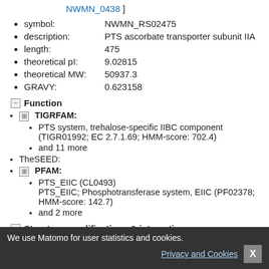NWMN_0438 ]
symbol: NWMN_RS02475
description: PTS ascorbate transporter subunit IIA
length: 475
theoretical pI: 9.02815
theoretical MW: 50937.3
GRAVY: 0.623158
Function
TIGRFAM:
PTS system, trehalose-specific IIBC component (TIGR01992; EC 2.7.1.69; HMM-score: 702.4)
and 11 more
TheSEED:
PFAM:
PTS_EIIC (CL0493) PTS_EIIC; Phosphotransferase system, EIIC (PF02378; HMM-score: 142.7)
and 2 more
Structure, modifications & interactions
domains:
modifications:
cofactors:
We use Matomo for user statistics and cookies. Privacy and Cookies X